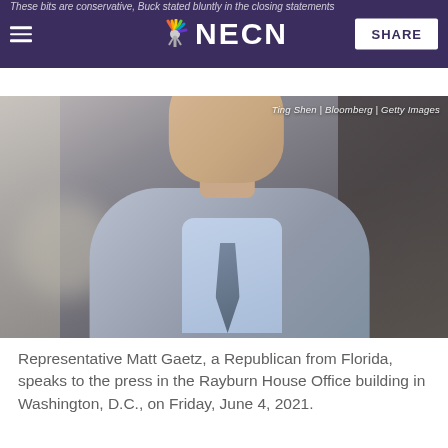These bits are conservative, Buck stated bluntly in the closing statements
NECN
SHARE
[Figure (photo): Representative Matt Gaetz, a Republican from Florida, speaks to the press in the Rayburn House Office building in Washington, D.C., on Friday, June 4, 2021. Photo credit: Ting Shen | Bloomberg | Getty Images]
Representative Matt Gaetz, a Republican from Florida, speaks to the press in the Rayburn House Office building in Washington, D.C., on Friday, June 4, 2021.